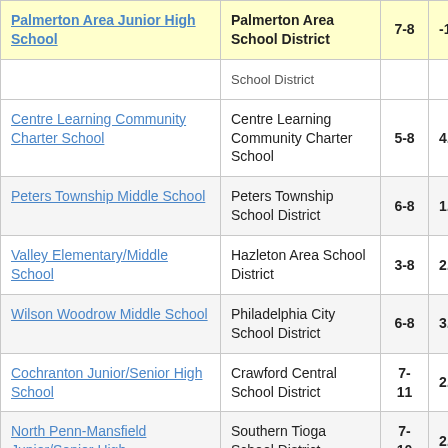| School | District | Grades | Value |
| --- | --- | --- | --- |
| Palmerton Area Junior High School | Palmerton Area School District | 7-8 | -1. |
| (School District) |  |  |  |
| Centre Learning Community Charter School | Centre Learning Community Charter School | 5-8 | 4. |
| Peters Township Middle School | Peters Township School District | 6-8 | 1. |
| Valley Elementary/Middle School | Hazleton Area School District | 3-8 | 2. |
| Wilson Woodrow Middle School | Philadelphia City School District | 6-8 | 3. |
| Cochranton Junior/Senior High School | Crawford Central School District | 7-11 | 2. |
| North Penn-Mansfield Junior/Senior High | Southern Tioga School District | 7-10 | 2. |